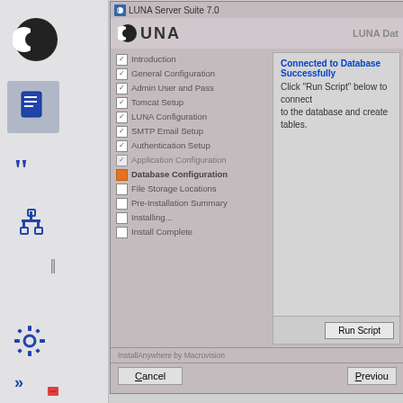[Figure (screenshot): LUNA Server Suite 7.0 installer window showing Database Configuration step. Left panel has a checklist of installation steps with checkmarks. Right panel shows 'Connected to Database Successfully' message and a Run Script button. Bottom has Cancel and Previous buttons.]